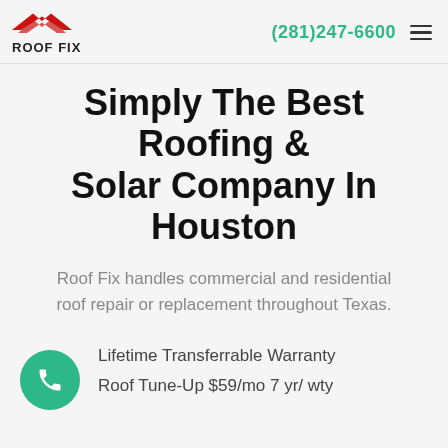ROOF FIX | (281)247-6600
Simply The Best Roofing & Solar Company In Houston
Roof Fix handles commercial and residential roof repair or replacement throughout Texas.
Lifetime Transferrable Warranty
Roof Tune-Up $59/mo 7 yr/ wty